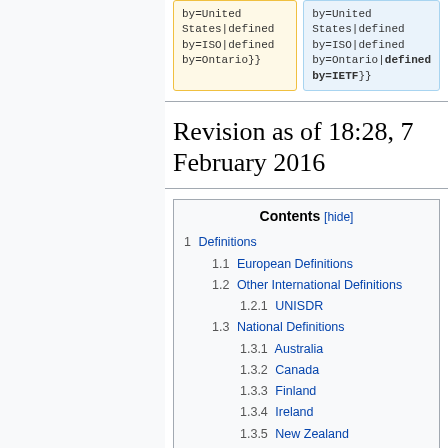by=United States|defined by=ISO|defined by=Ontario}}
by=United States|defined by=ISO|defined by=Ontario|defined by=IETF}}
Revision as of 18:28, 7 February 2016
| Contents [hide] |
| --- |
| 1  Definitions |
| 1.1  European Definitions |
| 1.2  Other International Definitions |
| 1.2.1  UNISDR |
| 1.3  National Definitions |
| 1.3.1  Australia |
| 1.3.2  Canada |
| 1.3.3  Finland |
| 1.3.4  Ireland |
| 1.3.5  New Zealand |